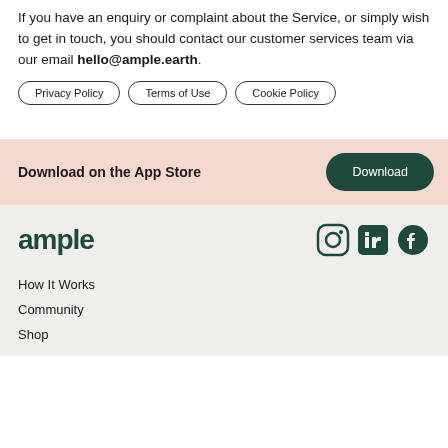If you have an enquiry or complaint about the Service, or simply wish to get in touch, you should contact our customer services team via our email hello@ample.earth.
Privacy Policy
Terms of Use
Cookie Policy
Download on the App Store
Download
[Figure (logo): Ample logo in dark green]
[Figure (illustration): Social media icons: Instagram, LinkedIn, Facebook in dark green]
How It Works
Community
Shop